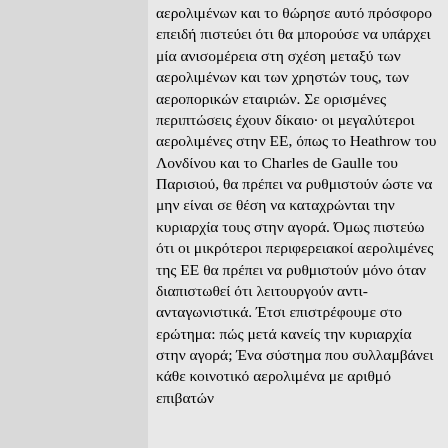αερολιμένων και το θώρησε αυτό πρόσφορο επειδή πιστεύει ότι θα μπορούσε να υπάρχει μία ανισομέρεια στη σχέση μεταξύ των αερολιμένων και των χρηστών τους, των αεροπορικών εταιριών. Σε ορισμένες περιπτώσεις έχουν δίκαιο· οι μεγαλύτεροι αερολιμένες στην ΕΕ, όπως το Heathrow του Λονδίνου και το Charles de Gaulle του Παρισιού, θα πρέπει να ρυθμιστούν ώστε να μην είναι σε θέση να καταχρώνται την κυριαρχία τους στην αγορά. Όμως πιστεύω ότι οι μικρότεροι περιφερειακοί αερολιμένες της ΕΕ θα πρέπει να ρυθμιστούν μόνο όταν διαπιστωθεί ότι λειτουργούν αντι-ανταγωνιστικά. Έτσι επιστρέφουμε στο ερώτημα: πώς μετά κανείς την κυριαρχία στην αγορά; Ένα σύστημα που συλλαμβάνει κάθε κοινοτικό αερολιμένα με αριθμό επιβατών